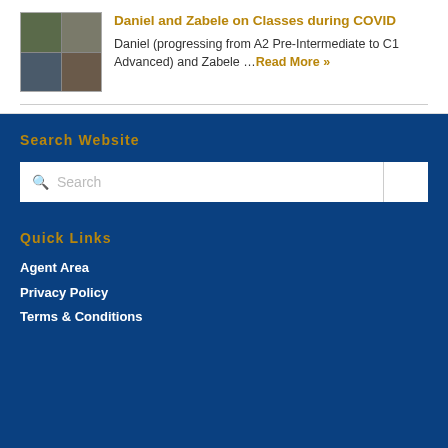Daniel and Zabele on Classes during COVID
Daniel (progressing from A2 Pre-Intermediate to C1 Advanced) and Zabele …Read More »
Search Website
Quick Links
Agent Area
Privacy Policy
Terms & Conditions